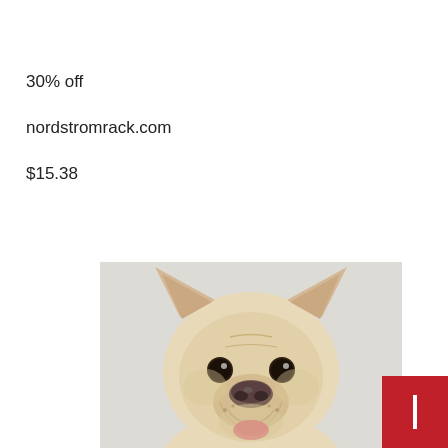30% off
nordstromrack.com
$15.38
[Figure (photo): Close-up photo of a French Bulldog with large upright ears, cream/fawn colored coat, looking directly at camera with tongue slightly visible, against a light gray background.]